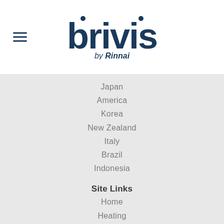[Figure (logo): Brivis by Rinnai logo with hamburger menu icon on the left]
Japan
America
Korea
New Zealand
Italy
Brazil
Indonesia
Site Links
Home
Heating
Cooling
Controllers
Useful Links
Book a Service
Product Selector
Downloads
Service Advisor